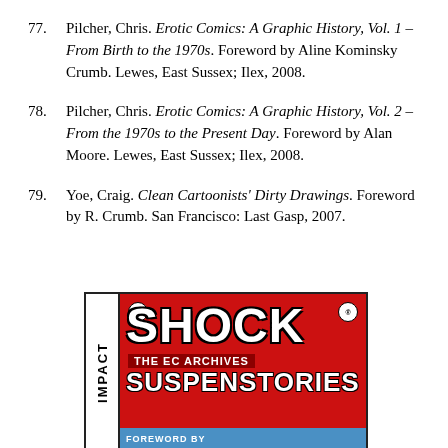77. Pilcher, Chris. Erotic Comics: A Graphic History, Vol. 1 – From Birth to the 1970s. Foreword by Aline Kominsky Crumb. Lewes, East Sussex; Ilex, 2008.
78. Pilcher, Chris. Erotic Comics: A Graphic History, Vol. 2 – From the 1970s to the Present Day. Foreword by Alan Moore. Lewes, East Sussex; Ilex, 2008.
79. Yoe, Craig. Clean Cartoonists' Dirty Drawings. Foreword by R. Crumb. San Francisco: Last Gasp, 2007.
[Figure (photo): Book cover of 'Shock SuspenStories: The EC Archives' published by Impact. Red cover with bold white text reading SHOCK, subtitle THE EC ARCHIVES, and SUSPENSTORIES. A vertical white bar on the left reads IMPACT. Blue bar at bottom reads FOREWORD BY.]